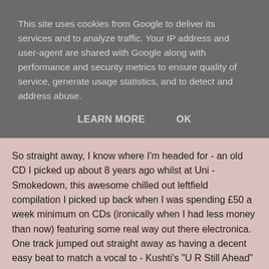This site uses cookies from Google to deliver its services and to analyze traffic. Your IP address and user-agent are shared with Google along with performance and security metrics to ensure quality of service, generate usage statistics, and to detect and address abuse.
LEARN MORE   OK
So straight away, I know where I'm headed for - an old CD I picked up about 8 years ago whilst at Uni - Smokedown, this awesome chilled out leftfield compilation I picked up back when I was spending £50 a week minimum on CDs (ironically when I had less money than now) featuring some real way out there electronica. One track jumped out straight away as having a decent easy beat to match a vocal to - Kushti's "U R Still Ahead" - it has a nice mellow vibe too (goes without saying, there's at least another 4 or 5 tracks on there that will be making it on to Acid at some point).
But what vocal to mash it with? Well, from my previous post for "Sometimes I Smile", I was determined to get a foreign language 'acella in the mix, and Tadpole's "Dudu" was top of